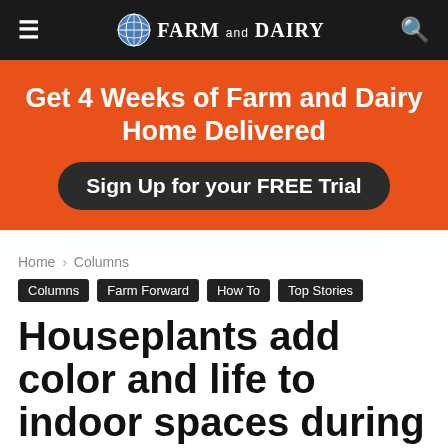Farm and Dairy
[Figure (infographic): Orange promotional banner with white text: 'Get 4 Weeks of Farm and Dairy Home Delivered' and a dark button 'Sign Up for your FREE Trial']
Home › Columns
Columns  Farm Forward  How To  Top Stories
Houseplants add color and life to indoor spaces during winter